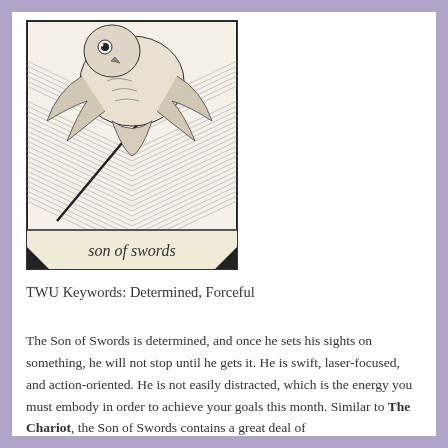[Figure (illustration): A tarot card illustration showing an owl in flight carrying a sword, with a chevron/feather pattern background. Text at the bottom reads 'son of swords' in cursive script.]
TWU Keywords: Determined, Forceful
The Son of Swords is determined, and once he sets his sights on something, he will not stop until he gets it. He is swift, laser-focused, and action-oriented. He is not easily distracted, which is the energy you must embody in order to achieve your goals this month. Similar to The Chariot, the Son of Swords contains a great deal of